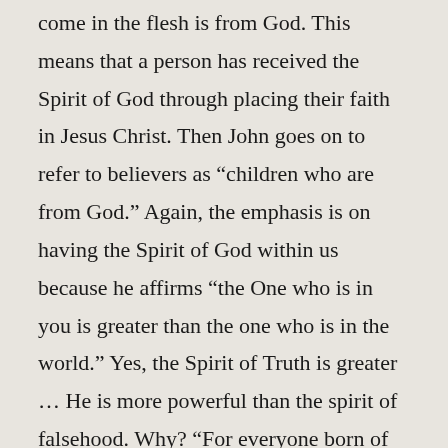come in the flesh is from God. This means that a person has received the Spirit of God through placing their faith in Jesus Christ. Then John goes on to refer to believers as “children who are from God.” Again, the emphasis is on having the Spirit of God within us because he affirms “the One who is in you is greater than the one who is in the world.” Yes, the Spirit of Truth is greater … He is more powerful than the spirit of falsehood. Why? “For everyone born of God overcomes the world. This is the victory that has overcome the world, even our faith. (Cf. 1 John 5:4) It is through faith in Christ we have overcome darkness and deception. Indeed, the Spirit of Truth has set us free! But the god of this age (Satan) has blinded the minds of unbelievers, so that they cannot see the light of the Gospel that displays the glory of Christ, who